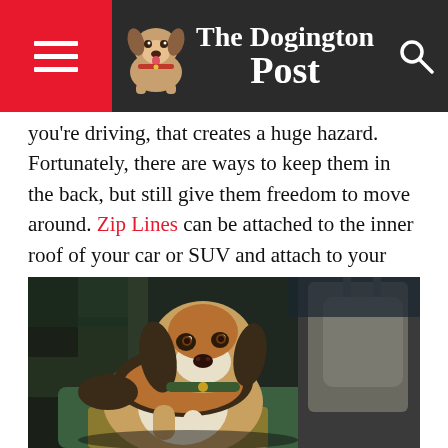The Dogington Post
you're driving, that creates a huge hazard. Fortunately, there are ways to keep them in the back, but still give them freedom to move around. Zip Lines can be attached to the inner roof of your car or SUV and attach to your dog's collar or harness via a leash hooked onto the zip line. This helps keep your pets secured and still allow them to check out what's happening on both sides of the vehicle.
[Figure (photo): A beagle dog sitting in the back seat of a car, looking alert, with car seats visible around it.]